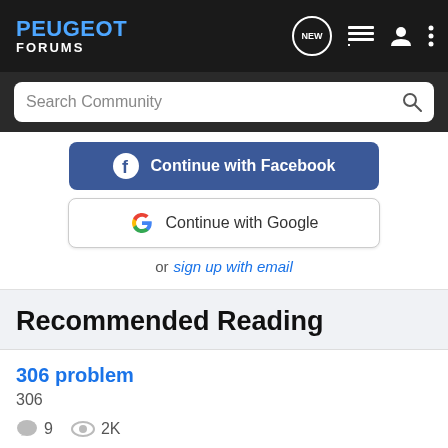PEUGEOT FORUMS
Search Community
Continue with Facebook
Continue with Google
or sign up with email
Recommended Reading
306 problem
306
9   2K
schoolsout · updated Mar 10, 2011